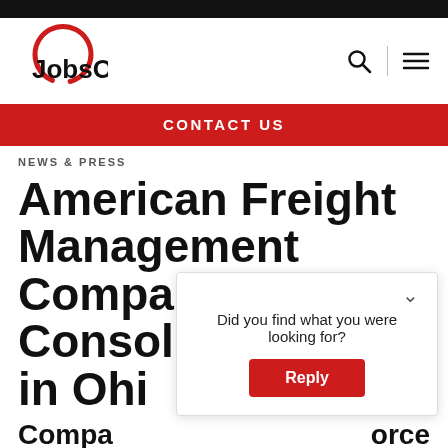[Figure (logo): JobsOhio logo with red circular arc and bold text 'JobsOhio.']
[Figure (other): Navigation icons: search magnifying glass, vertical divider, hamburger menu]
CONTACT US
NEWS & PRESS
American Freight Management Company Consolidates HQ in Ohio
Compa... ...orce
Did you find what you were looking for? Reply